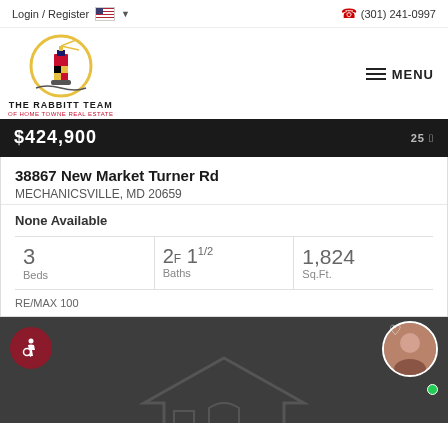Login / Register  (301) 241-0997
[Figure (logo): The Rabbitt Team of Home Towne Real Estate logo — lighthouse with circular globe emblem]
$424,900
38867 New Market Turner Rd
MECHANICSVILLE, MD 20659
None Available
| Beds | Baths | Sq.Ft. |
| --- | --- | --- |
| 3 | 2F 1 1/2 | 1,824 |
RE/MAX 100
[Figure (screenshot): Dark footer bar with accessibility icon (wheelchair symbol in red circle), decorative house outline watermark, and agent photo bubble with green online indicator]